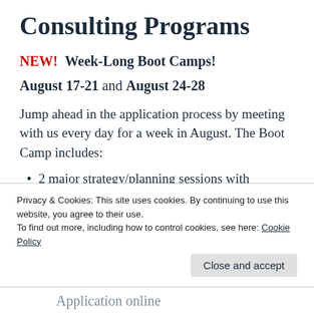Consulting Programs
NEW!  Week-Long Boot Camps!
August 17-21 and August 24-28
Jump ahead in the application process by meeting with us every day for a week in August. The Boot Camp includes:
2 major strategy/planning sessions with
Privacy & Cookies: This site uses cookies. By continuing to use this website, you agree to their use. To find out more, including how to control cookies, see here: Cookie Policy
Application online